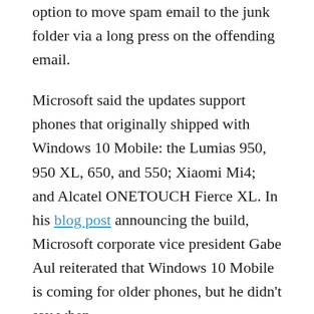option to move spam email to the junk folder via a long press on the offending email.
Microsoft said the updates support phones that originally shipped with Windows 10 Mobile: the Lumias 950, 950 XL, 650, and 550; Xiaomi Mi4; and Alcatel ONETOUCH Fierce XL. In his blog post announcing the build, Microsoft corporate vice president Gabe Aul reiterated that Windows 10 Mobile is coming for older phones, but he didn't say when.
Microsoft also added an update to the Phone app that displays a small icon indicating the number of missed calls or voicemails you've received since you last accessed the app. A new Feedback Hub